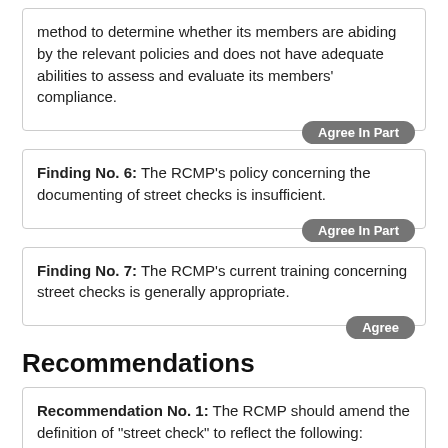method to determine whether its members are abiding by the relevant policies and does not have adequate abilities to assess and evaluate its members' compliance. [Agree In Part]
Finding No. 6: The RCMP's policy concerning the documenting of street checks is insufficient. [Agree In Part]
Finding No. 7: The RCMP's current training concerning street checks is generally appropriate. [Agree]
Recommendations
Recommendation No. 1: The RCMP should amend the definition of "street check" to reflect the following: "Street check means a voluntary interaction with the public, initiated by the police officer, where the police officer makes a request for personal identifying